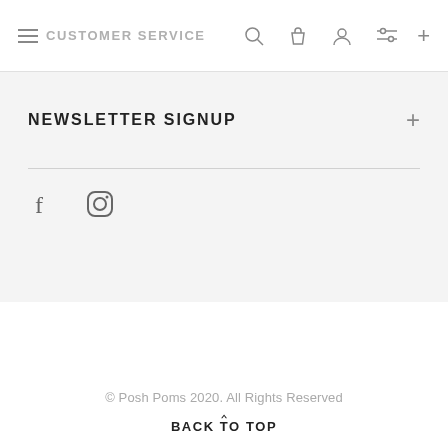CUSTOMER SERVICE
NEWSLETTER SIGNUP
[Figure (illustration): Facebook and Instagram social media icons]
© Posh Poms 2020. All Rights Reserved
BACK TO TOP